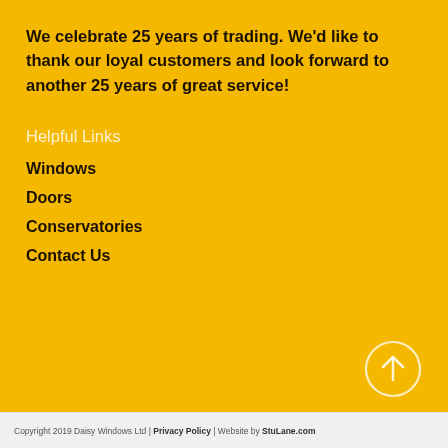We celebrate 25 years of trading. We'd like to thank our loyal customers and look forward to another 25 years of great service!
Helpful Links
Windows
Doors
Conservatories
Contact Us
[Figure (illustration): Circle with upward arrow icon for scroll to top]
Copyright 2019 Daisy Windows Ltd | Privacy Policy | Website by StuLane.com